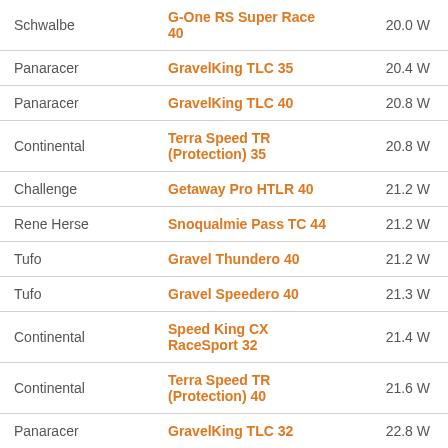| Brand | Model | Watts |
| --- | --- | --- |
| Schwalbe | G-One RS Super Race 40 | 20.0 W |
| Panaracer | GravelKing TLC 35 | 20.4 W |
| Panaracer | GravelKing TLC 40 | 20.8 W |
| Continental | Terra Speed TR (Protection) 35 | 20.8 W |
| Challenge | Getaway Pro HTLR 40 | 21.2 W |
| Rene Herse | Snoqualmie Pass TC 44 | 21.2 W |
| Tufo | Gravel Thundero 40 | 21.2 W |
| Tufo | Gravel Speedero 40 | 21.3 W |
| Continental | Speed King CX RaceSport 32 | 21.4 W |
| Continental | Terra Speed TR (Protection) 40 | 21.6 W |
| Panaracer | GravelKing TLC 32 | 22.8 W |
| Panaracer | GravelKing SS TLC 40 | 23.0 W |
| Pirelli | Cinturato Gravel H 40 | 23.3 W |